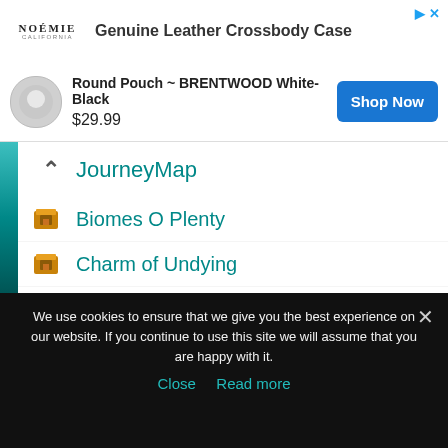[Figure (screenshot): Advertisement banner: NOÉMIE logo, 'Genuine Leather Crossbody Case' text, arrow and X icons]
[Figure (screenshot): Product ad: Round Pouch ~ BRENTWOOD White-Black, $29.99, Shop Now button]
JourneyMap
Biomes O Plenty
Charm of Undying
Extreme Reactors
Bookshelf
Comforts
Minecolonies
We use cookies to ensure that we give you the best experience on our website. If you continue to use this site we will assume that you are happy with it.
Close   Read more